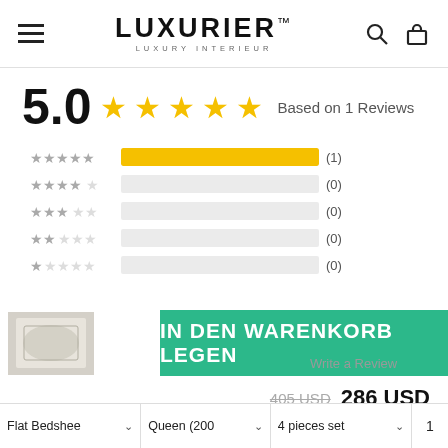LUXURIER™ LUXURY INTERIEUR
5.0  ★★★★★  Based on 1 Reviews
[Figure (bar-chart): Rating distribution]
IN DEN WARENKORB LEGEN
Write a Review
405 USD  286 USD
| Type | Size | Set | Qty |
| --- | --- | --- | --- |
| Flat Bedshee ∨ | Queen (200 ∨ | 4 pieces set ∨ | 1 |